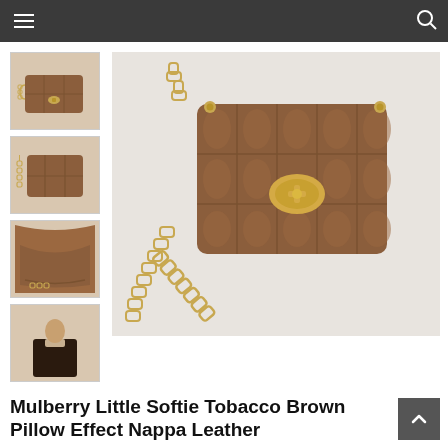[Figure (screenshot): Dark navigation bar with hamburger menu on left and search icon on right]
[Figure (photo): Thumbnail 1: Mulberry Little Softie Tobacco Brown bag front view with gold chain]
[Figure (photo): Thumbnail 2: Mulberry Little Softie bag back/side view with chain]
[Figure (photo): Thumbnail 3: Close-up interior detail of bag]
[Figure (photo): Thumbnail 4: Model wearing the bag]
[Figure (photo): Main large image: Mulberry Little Softie Tobacco Brown Pillow Effect Nappa Leather bag with gold chain and postman's lock clasp on light background]
Mulberry Little Softie Tobacco Brown Pillow Effect Nappa Leather